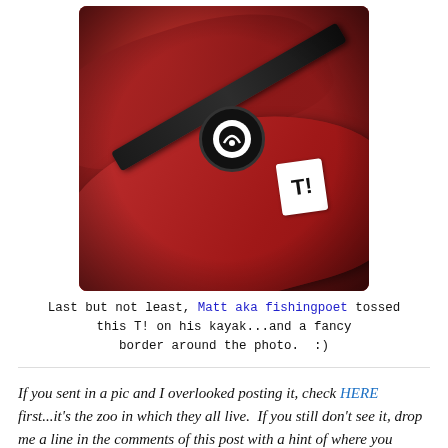[Figure (photo): Red kayak with a T! sticker and a circular logo sticker, a black paddle resting across it, photographed on grass with a fancy vignette/border effect.]
Last but not least, Matt aka fishingpoet tossed this T! on his kayak...and a fancy border around the photo.  :)
If you sent in a pic and I overlooked posting it, check HERE first...it's the zoo in which they all live.  If you still don't see it, drop me a line in the comments of this post with a hint of where you might have sent it.  And if you have stickers and haven't taken a picture yet...ummm....